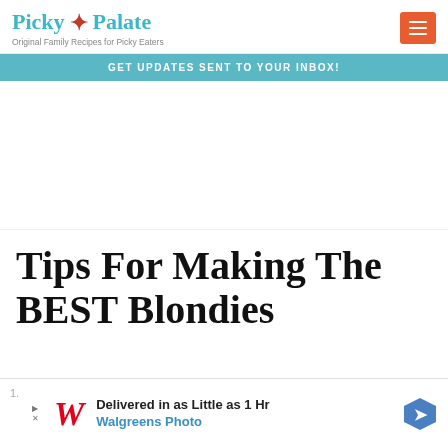[Figure (logo): Picky Palate logo with teal text and decorative fork/flower icon, tagline: Original Family Recipes for Picky Eaters]
GET UPDATES SENT TO YOUR INBOX!
Tips For Making The BEST Blondies
[Figure (screenshot): Advertisement: Walgreens Photo - Delivered in as Little as 1 Hr]